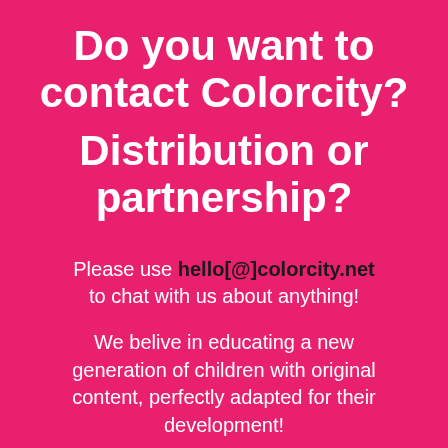Do you want to contact Colorcity?
Distribution or partnership?
Please use hello[@]colorcity.net to chat with us about anything!
We belive in educating a new generation of children with original content, perfectly adapted for their development!